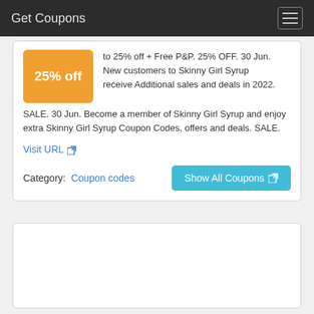Get Coupons
25% off
to 25% off + Free P&P. 25% OFF. 30 Jun. New customers to Skinny Girl Syrup receive Additional sales and deals in 2022. SALE. 30 Jun. Become a member of Skinny Girl Syrup and enjoy extra Skinny Girl Syrup Coupon Codes, offers and deals. SALE.
Visit URL
Category: Coupon codes
Show All Coupons